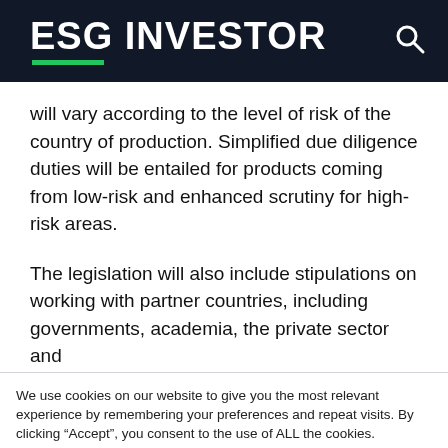ESG INVESTOR
will vary according to the level of risk of the country of production. Simplified due diligence duties will be entailed for products coming from low-risk and enhanced scrutiny for high-risk areas.

The legislation will also include stipulations on working with partner countries, including governments, academia, the private sector and
We use cookies on our website to give you the most relevant experience by remembering your preferences and repeat visits. By clicking “Accept”, you consent to the use of ALL the cookies.
Cookie settings | ACCEPT